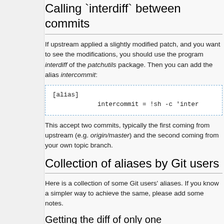Calling `interdiff` between commits
If upstream applied a slightly modified patch, and you want to see the modifications, you should use the program interdiff of the patchutils package. Then you can add the alias intercommit:
[alias]
            intercommit = !sh -c 'inter
This accept two commits, typically the first coming from upstream (e.g. origin/master) and the second coming from your own topic branch.
Collection of aliases by Git users
Here is a collection of some Git users' aliases. If you know a simpler way to achieve the same, please add some notes.
Getting the diff of only one